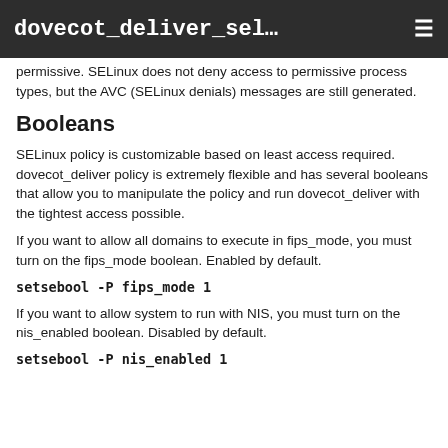dovecot_deliver_sel…  ☰
permissive. SELinux does not deny access to permissive process types, but the AVC (SELinux denials) messages are still generated.
Booleans
SELinux policy is customizable based on least access required.  dovecot_deliver policy is extremely flexible and has several booleans that allow you to manipulate the policy and run dovecot_deliver with the tightest access possible.
If you want to allow all domains to execute in fips_mode, you must turn on the fips_mode boolean. Enabled by default.
setsebool -P fips_mode 1
If you want to allow system to run with NIS, you must turn on the nis_enabled boolean. Disabled by default.
setsebool -P nis_enabled 1